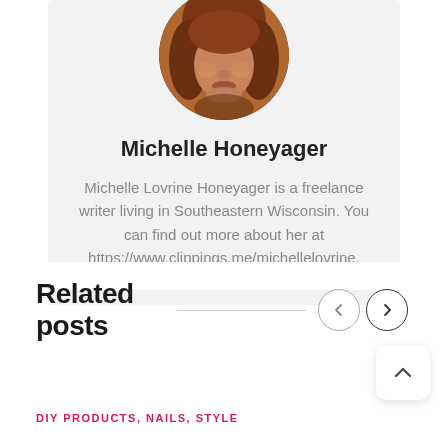[Figure (photo): Circular cropped portrait photo of Michelle Honeyager, a woman with reddish-auburn hair, warm skin tones, dimly lit background.]
Michelle Honeyager
Michelle Lovrine Honeyager is a freelance writer living in Southeastern Wisconsin. You can find out more about her at https://www.clippings.me/michellelovrine.
Related posts
DIY PRODUCTS, NAILS, STYLE